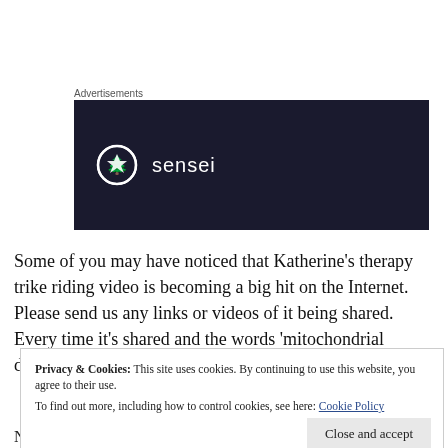Advertisements
[Figure (logo): Dark navy advertisement banner with a circular tree logo and the word 'sensei' in white text]
Some of you may have noticed that Katherine's therapy trike riding video is becoming a big hit on the Internet. Please send us any links or videos of it being shared. Every time it's shared and the words 'mitochondrial disease' are mentioned, she is spreading more awareness.
Privacy & Cookies: This site uses cookies. By continuing to use this website, you agree to their use. To find out more, including how to control cookies, see here: Cookie Policy
Nieuwsblad (Belgian newspaper)